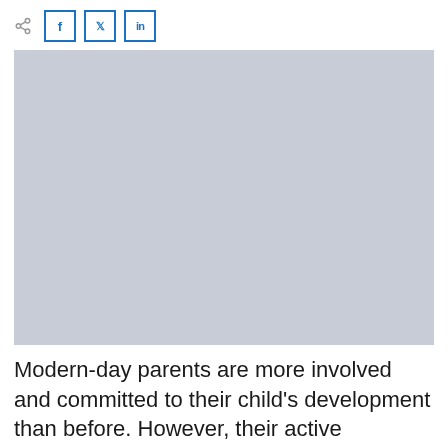[Figure (other): Social share icons: share button, Facebook (f), Twitter (bird), LinkedIn (in)]
[Figure (photo): Large placeholder image with light blue-grey background, content not visible]
Modern-day parents are more involved and committed to their child's development than before. However, their active involvement only starts after preschool.